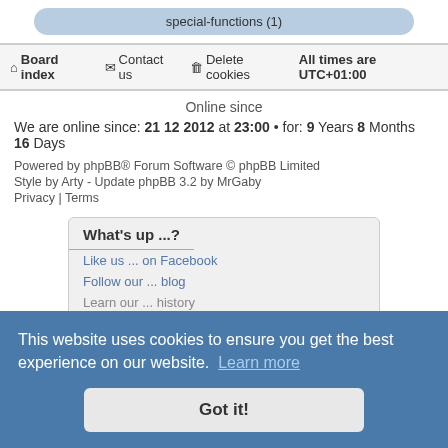special-functions (1)
Board index | Contact us | Delete cookies | All times are UTC+01:00
Online since
We are online since: 21 12 2012 at 23:00 • for: 9 Years 8 Months 16 Days
Powered by phpBB® Forum Software © phpBB Limited
Style by Arty - Update phpBB 3.2 by MrGaby
Privacy | Terms
What's up ...?
Like us ... on Facebook
Follow our ... blog
Learn our ... history
Get Involved
Be part ... of our team
Powered by
MathJax...
This website uses cookies to ensure you get the best experience on our website. Learn more
Got it!